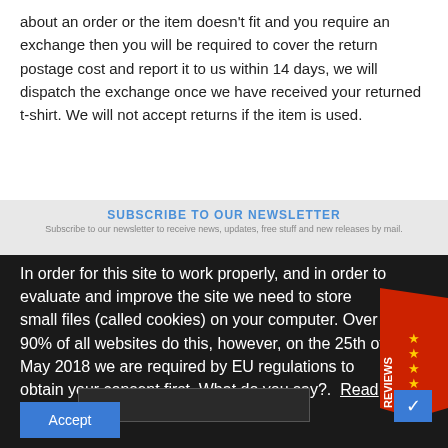about an order or the item doesn't fit and you require an exchange then you will be required to cover the return postage cost and report it to us within 14 days, we will dispatch the exchange once we have received your returned t-shirt. We will not accept returns if the item is used.
SUBSCRIBE TO OUR NEWSLETTER
Subscribe to our newsletter to receive news, updates, free stuff and new releases by mail.
In order for this site to work properly, and in order to evaluate and improve the site we need to store small files (called cookies) on your computer. Over 90% of all websites do this, however, on the 25th of May 2018 we are required by EU regulations to obtain your consent first. What do you say?. Read More
[Figure (illustration): Red banner badge with gold stars and the word REVIEWS in white text]